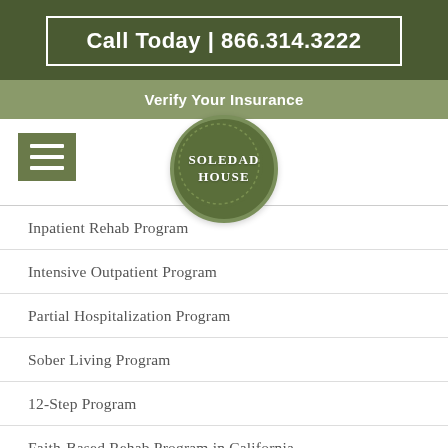Call Today | 866.314.3222
Verify Your Insurance
[Figure (logo): Soledad House circular logo with dark olive green background and white serif text reading SOLEDAD HOUSE]
Inpatient Rehab Program
Intensive Outpatient Program
Partial Hospitalization Program
Sober Living Program
12-Step Program
Faith-Based Rehab Program in California
Extended Care